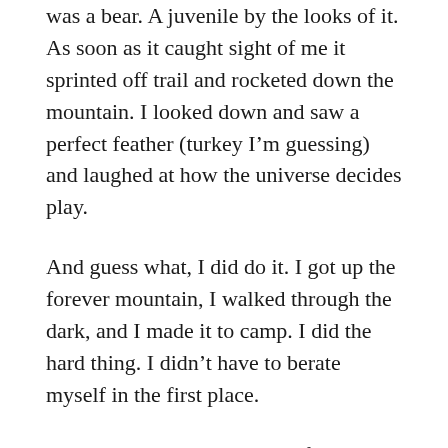was a bear. A juvenile by the looks of it. As soon as it caught sight of me it sprinted off trail and rocketed down the mountain. I looked down and saw a perfect feather (turkey I'm guessing) and laughed at how the universe decides play.
And guess what, I did do it. I got up the forever mountain, I walked through the dark, and I made it to camp. I did the hard thing. I didn't have to berate myself in the first place.
I decided to reschedule one of my planned stops in Tellico Plains a day early. So I'll be getting off trail for a couple of days. I know how hard I've worked and how far I've pushed myself, but I also know I need rest. Especially this knee. It might sound whiney or even